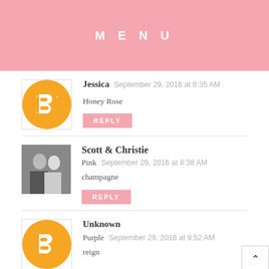MENU
Jessica   September 29, 2016 at 8:35 AM
Honey Rose
REPLY
Scott & Christie   September 29, 2016 at 8:38 AM
Pink champagne
REPLY
Unknown   September 29, 2016 at 9:52 AM
Purple reign